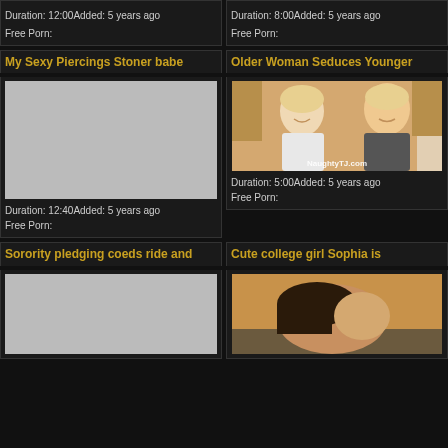Duration: 12:00Added: 5 years ago
Free Porn:
Duration: 8:00Added: 5 years ago
Free Porn:
My Sexy Piercings Stoner babe
[Figure (photo): Gray placeholder thumbnail]
Duration: 12:40Added: 5 years ago
Free Porn:
Older Woman Seduces Younger
[Figure (photo): Two blonde women sitting on a couch, watermark NaughtyTJ.com]
Duration: 5:00Added: 5 years ago
Free Porn:
Sorority pledging coeds ride and
[Figure (photo): Gray placeholder thumbnail]
Cute college girl Sophia is
[Figure (photo): Woman with dark hair lying down, partial view]